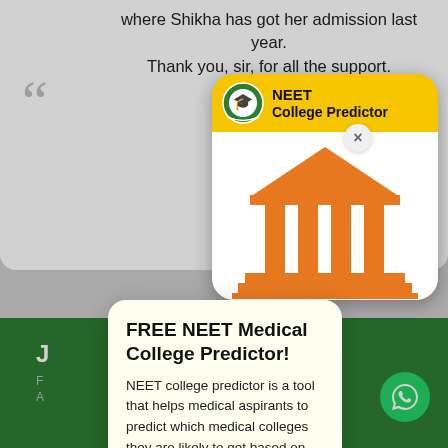where Shikha has got her admission last year. Thank you, sir, for all the support.
Ha...
( Stu...
[Figure (logo): NEET College Predictor app icon with a golden/yellow background, circular emblem logo on left, text 'NEET' and 'College Predictor' on right, and an orange university/temple building illustration below]
×
FREE NEET Medical College Predictor!
NEET college predictor is a tool that helps medical aspirants to predict which medical colleges they are likely to get based on